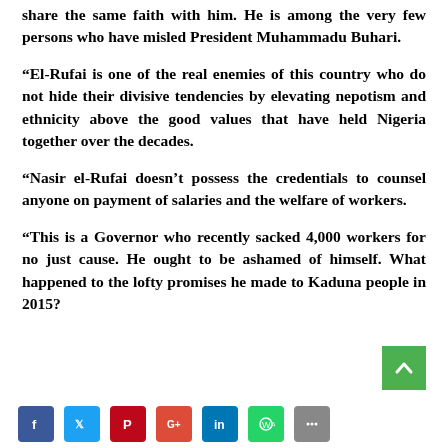share the same faith with him. He is among the very few persons who have misled President Muhammadu Buhari.
“El-Rufai is one of the real enemies of this country who do not hide their divisive tendencies by elevating nepotism and ethnicity above the good values that have held Nigeria together over the decades.
“Nasir el-Rufai doesn’t possess the credentials to counsel anyone on payment of salaries and the welfare of workers.
“This is a Governor who recently sacked 4,000 workers for no just cause. He ought to be ashamed of himself. What happened to the lofty promises he made to Kaduna people in 2015?
[Figure (other): Green scroll-to-top button with upward chevron arrow]
[Figure (other): Social media sharing icons bar: Facebook, Twitter, Pinterest, Google+, LinkedIn, WhatsApp, and another icon]